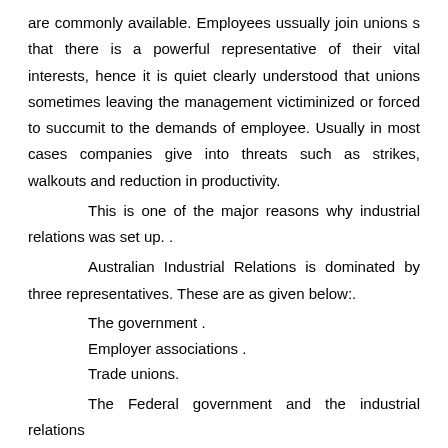are commonly available. Employees ussually join unions s that there is a powerful representative of their vital interests, hence it is quiet clearly understood that unions sometimes leaving the management victiminized or forced to succumit to the demands of employee. Usually in most cases companies give into threats such as strikes, walkouts and reduction in productivity.
This is one of the major reasons why industrial relations was set up. .
Australian Industrial Relations is dominated by three representatives. These are as given below:.
The government .
Employer associations .
Trade unions.
The Federal government and the industrial relations